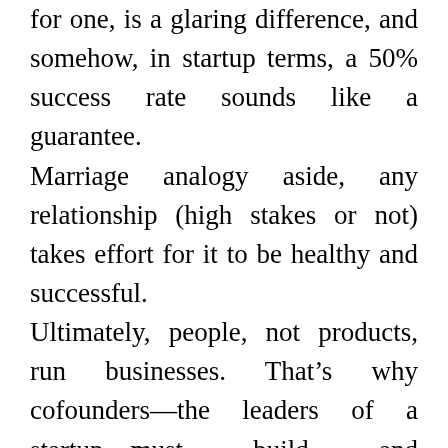for one, is a glaring difference, and somehow, in startup terms, a 50% success rate sounds like a guarantee.
Marriage analogy aside, any relationship (high stakes or not) takes effort for it to be healthy and successful.
Ultimately, people, not products, run businesses. That’s why cofounders—the leaders of a startup—must build and continually maintain a strong working relationship. This is the foundation of the business. The structure will likely crumble if it’s weak.
In this post, I’m going to discuss methods I’ve found to effectively maintain a founder...